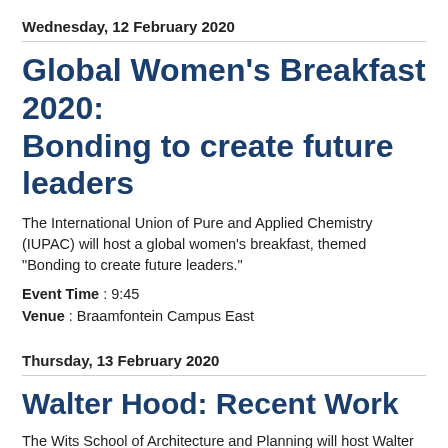Wednesday, 12 February 2020
Global Women's Breakfast 2020: Bonding to create future leaders
The International Union of Pure and Applied Chemistry (IUPAC) will host a global women's breakfast, themed "Bonding to create future leaders."
Event Time : 9:45
Venue : Braamfontein Campus East
Thursday, 13 February 2020
Walter Hood: Recent Work
The Wits School of Architecture and Planning will host Walter Hood, a landscape designer and artist to